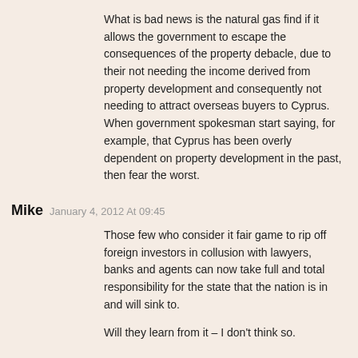What is bad news is the natural gas find if it allows the government to escape the consequences of the property debacle, due to their not needing the income derived from property development and consequently not needing to attract overseas buyers to Cyprus. When government spokesman start saying, for example, that Cyprus has been overly dependent on property development in the past, then fear the worst.
Mike  January 4, 2012 At 09:45
Those few who consider it fair game to rip off foreign investors in collusion with lawyers, banks and agents can now take full and total responsibility for the state that the nation is in and will sink to.
Will they learn from it – I don't think so.
Costas Afortune  January 4, 2012 At 09:07